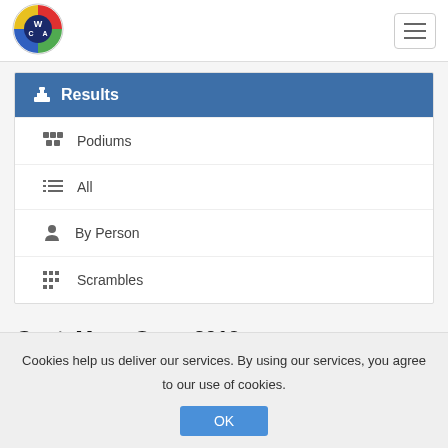[Figure (logo): WCA (World Cube Association) circular logo with colorful cube design]
Results
Podiums
All
By Person
Scrambles
GuateMaya Open 2019
Cookies help us deliver our services. By using our services, you agree to our use of cookies.